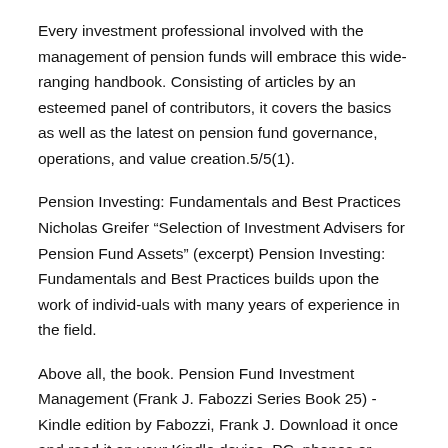Every investment professional involved with the management of pension funds will embrace this wide-ranging handbook. Consisting of articles by an esteemed panel of contributors, it covers the basics as well as the latest on pension fund governance, operations, and value creation.5/5(1).
Pension Investing: Fundamentals and Best Practices Nicholas Greifer “Selection of Investment Advisers for Pension Fund Assets” (excerpt) Pension Investing: Fundamentals and Best Practices builds upon the work of individ-uals with many years of experience in the field.
Above all, the book. Pension Fund Investment Management (Frank J. Fabozzi Series Book 25) - Kindle edition by Fabozzi, Frank J. Download it once and read it on your Kindle device, PC, phones or tablets.
Use features like bookmarks, note taking and highlighting while reading Pension Fund Investment Management (Frank J. Fabozzi Series Book 25).5/5(1). Every investment professional involved with the management of pension funds will embrace this wide-ranging